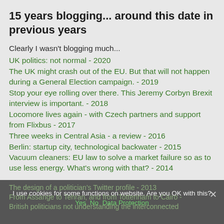15 years blogging... around this date in previous years
Clearly I wasn't blogging much...
UK politics: not normal - 2020
The UK might crash out of the EU. But that will not happen during a General Election campaign. - 2019
Stop your eye rolling over there. This Jeremy Corbyn Brexit interview is important. - 2018
Locomore lives again - with Czech partners and support from Flixbus - 2017
Three weeks in Central Asia - a review - 2016
Berlin: startup city, technological backwater - 2015
Vacuum cleaners: EU law to solve a market failure so as to use less energy. What's wrong with that? - 2014
The design of a politician's Twitter profile - 2013
From Assange to Tehran, and from Tottenham to Cairo -
British politicians not understanding the interconnected
I use cookies for some functions on website. Are you OK with this? Yes  No  Data Protection